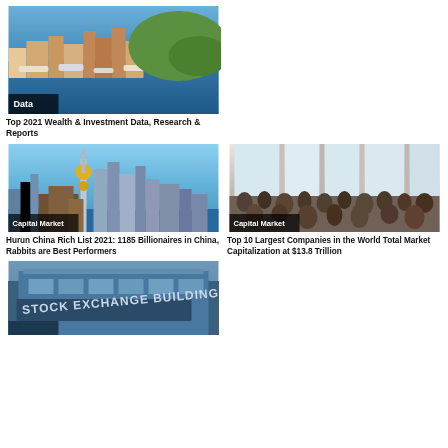[Figure (photo): Aerial view of Monaco marina with yachts and colorful buildings along the waterfront]
Data
Top 2021 Wealth & Investment Data, Research & Reports
[Figure (photo): Shanghai skyline with Oriental Pearl Tower and modern skyscrapers along the Huangpu River]
Capital Market
Hurun China Rich List 2021: 1185 Billionaires in China, Rabbits are Best Performers
[Figure (photo): Crowded Apple Store interior with large windows and many visitors]
Capital Market
Top 10 Largest Companies in the World Total Market Capitalization at $13.8 Trillion
[Figure (photo): Close-up of a Stock Exchange Building sign on a modern glass building]